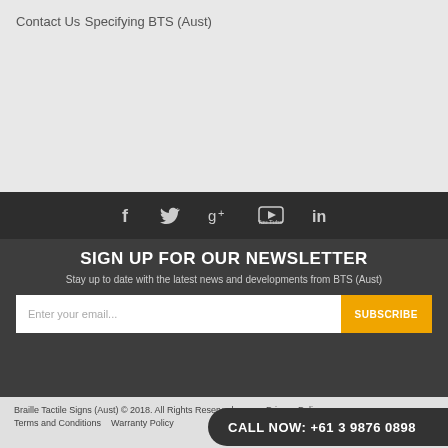Contact Us
Specifying BTS (Aust)
[Figure (infographic): Social media icons row: Facebook, Twitter, Google+, YouTube, LinkedIn]
SIGN UP FOR OUR NEWSLETTER
Stay up to date with the latest news and developments from BTS (Aust)
Enter your email... SUBSCRIBE
Braille Tactile Signs (Aust) © 2018. All Rights Reserved.   Privacy Policy   Terms and Conditions   Warranty Policy
CALL NOW: +61 3 9876 0898